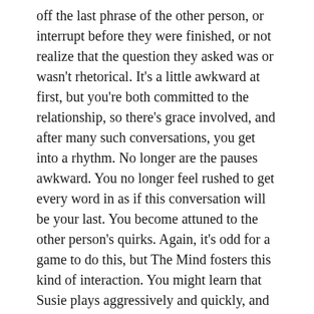off the last phrase of the other person, or interrupt before they were finished, or not realize that the question they asked was or wasn't rhetorical. It's a little awkward at first, but you're both committed to the relationship, so there's grace involved, and after many such conversations, you get into a rhythm. No longer are the pauses awkward. You no longer feel rushed to get every word in as if this conversation will be your last. You become attuned to the other person's quirks. Again, it's odd for a game to do this, but The Mind fosters this kind of interaction. You might learn that Susie plays aggressively and quickly, and Brian plays hesitantly, second-guessing every card. You adapt to the other players and the cards you have in your hand, and the “conversation” happens on the table.